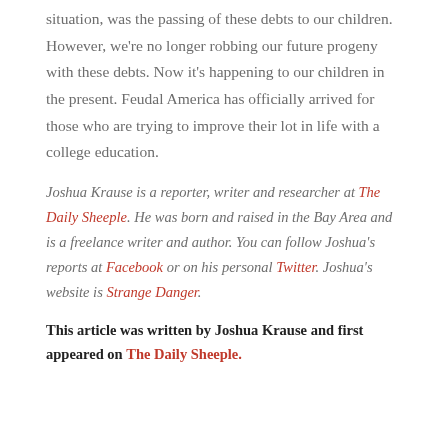situation, was the passing of these debts to our children. However, we're no longer robbing our future progeny with these debts. Now it's happening to our children in the present. Feudal America has officially arrived for those who are trying to improve their lot in life with a college education.
Joshua Krause is a reporter, writer and researcher at The Daily Sheeple. He was born and raised in the Bay Area and is a freelance writer and author. You can follow Joshua's reports at Facebook or on his personal Twitter. Joshua's website is Strange Danger.
This article was written by Joshua Krause and first appeared on The Daily Sheeple.